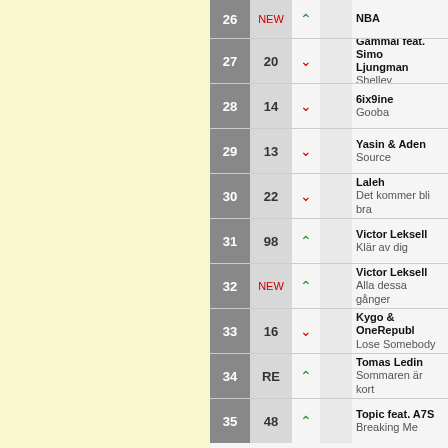| Rank | Prev | Trend | Bar | Artist / Title |
| --- | --- | --- | --- | --- |
| 26 | NEW | ↑ |  | NBA |
| 27 | 20 | ↓ |  | Gammal feat. Simon Ljungman / Shelley |
| 28 | 14 | ↓ |  | 6ix9ine / Gooba |
| 29 | 13 | ↓ |  | Yasin & Aden / Source |
| 30 | 22 | ↓ |  | Laleh / Det kommer bli bra |
| 31 | 98 | ↑ |  | Victor Leksell / Klär av dig |
| 32 | NEW | ↑ |  | Victor Leksell / Alla dessa gånger |
| 33 | 16 | ↓ |  | Kygo & OneRepublic / Lose Somebody |
| 34 | RE | ↑ |  | Tomas Ledin / Sommaren är kort |
| 35 | 48 | ↑ |  | Topic feat. A7S / Breaking Me |